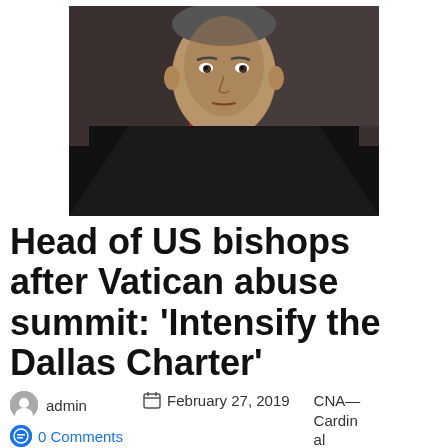[Figure (photo): A cardinal or bishop wearing black robes with red accents and a chain, photographed indoors with a blurred background.]
Head of US bishops after Vatican abuse summit: ‘Intensify the Dallas Charter’
admin    February 27, 2019    CNA—Cardinal
0 Comments
Daniel DiNardo, president of the U.S. Conference of Catholic Bishops, has promised “unyielding vigilance” and